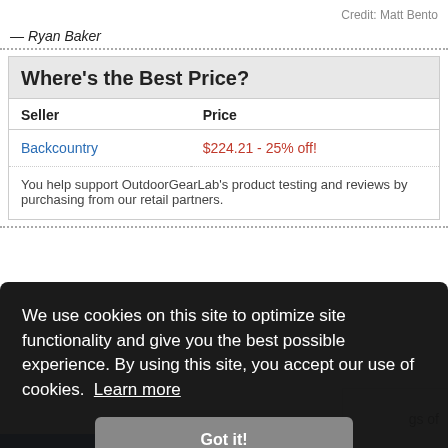Credit: Matt Bento
— Ryan Baker
| Seller | Price |
| --- | --- |
| Backcountry | $224.21  -  25% off! |
You help support OutdoorGearLab's product testing and reviews by purchasing from our retail partners.
We use cookies on this site to optimize site functionality and give you the best possible experience. By using this site, you accept our use of cookies.  Learn more